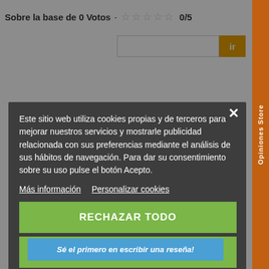Sobre la base de 0 Votos - ☆☆☆☆☆ 0/5
[Figure (screenshot): Search input box with orange 'ir' button]
Este sitio web utiliza cookies propias y de terceros para mejorar nuestros servicios y mostrarle publicidad relacionada con sus preferencias mediante el análisis de sus hábitos de navegación. Para dar su consentimiento sobre su uso pulse el botón Acepto.
Más información  Personalizar cookies
RECHAZAR TODO
ACEPTO
Sé el primero en escribir una reseña!